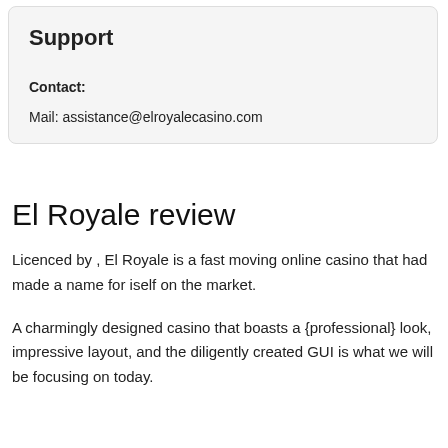Support
Contact:
Mail: assistance@elroyalecasino.com
El Royale review
Licenced by , El Royale is a fast moving online casino that had made a name for iself on the market.
A charmingly designed casino that boasts a {professional} look, impressive layout, and the diligently created GUI is what we will be focusing on today.